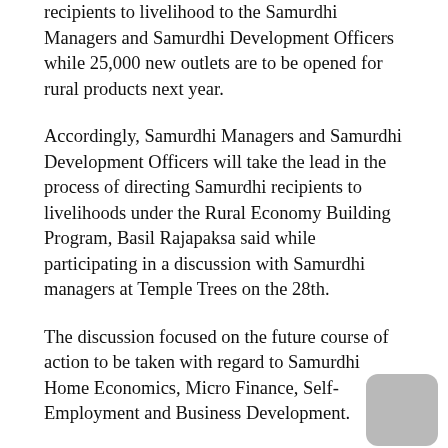recipients to livelihood to the Samurdhi Managers and Samurdhi Development Officers while 25,000 new outlets are to be opened for rural products next year.
Accordingly, Samurdhi Managers and Samurdhi Development Officers will take the lead in the process of directing Samurdhi recipients to livelihoods under the Rural Economy Building Program, Basil Rajapaksa said while participating in a discussion with Samurdhi managers at Temple Trees on the 28th.
The discussion focused on the future course of action to be taken with regard to Samurdhi Home Economics, Micro Finance, Self-Employment and Business Development.
Mr. Rajapaksa pointed out that this year's budget focuses on solving the problem of youth unemployment and empowering rural women by selecting women entrepreneurs at the Grama Niladhari Division level and providing them with training and facilities to run businesses.
He said the government expects to facilitate 200,000 self-employment opportunities in agriculture, animal husbandry, fisheries, and home occupations, and have already...